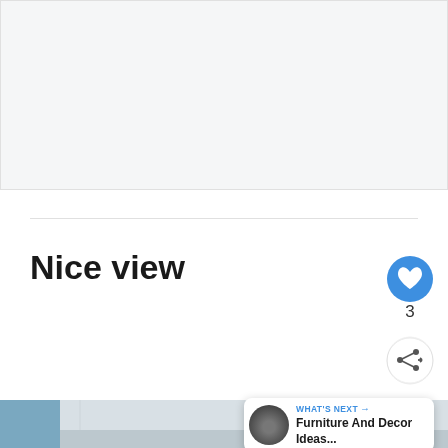[Figure (photo): Large light gray placeholder image area at top of page]
Nice view
[Figure (screenshot): UI elements: heart/like button (blue circle with heart icon), like count '3', share button (white circle with share icon)]
[Figure (photo): Bottom portion of an interior room photo showing ceiling, window with blue sky view, and light colored walls]
WHAT'S NEXT → Furniture And Decor Ideas...